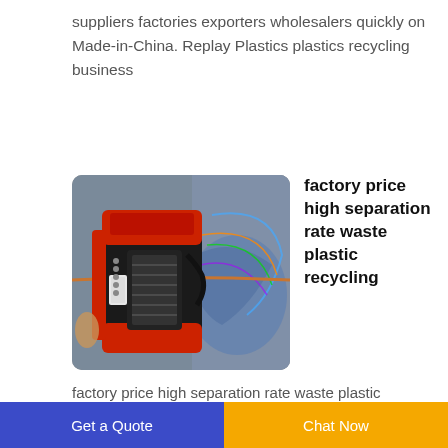suppliers factories exporters wholesalers quickly on Made-in-China. Replay Plastics plastics recycling business
[Figure (photo): A red and black industrial plastic recycling/pelletizing machine viewed from above, with colorful wires visible in the background]
factory price high separation rate waste plastic recycling
factory price high separation rate waste plastic recycling pelletizing business for sale in malaysia Environment Recycl Consult Suppliers all Quality plastic recycling machine waste pet bottle recycling machine scrap pe